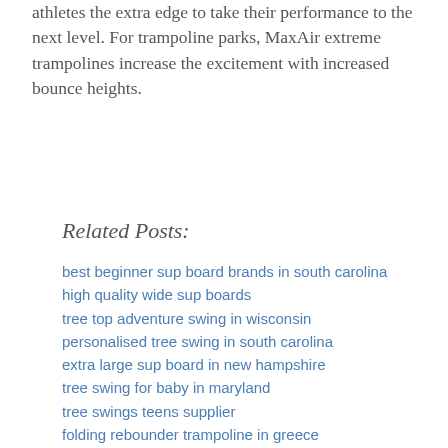athletes the extra edge to take their performance to the next level. For trampoline parks, MaxAir extreme trampolines increase the excitement with increased bounce heights.
Related Posts:
best beginner sup board brands in south carolina
high quality wide sup boards
tree top adventure swing in wisconsin
personalised tree swing in south carolina
extra large sup board in new hampshire
tree swing for baby in maryland
tree swings teens supplier
folding rebounder trampoline in greece
long tree swing in massachusetts